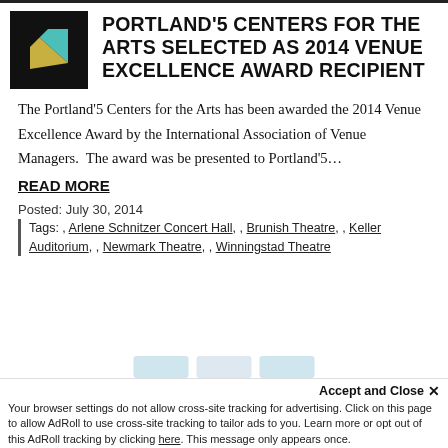[Figure (logo): Portland'5 Centers for the Arts logo — black square with teal and yellow geometric arrow mark]
PORTLAND'5 CENTERS FOR THE ARTS SELECTED AS 2014 VENUE EXCELLENCE AWARD RECIPIENT
The Portland'5 Centers for the Arts has been awarded the 2014 Venue Excellence Award by the International Association of Venue Managers.  The award was be presented to Portland'5…
READ MORE
Posted: July 30, 2014
Tags: , Arlene Schnitzer Concert Hall, , Brunish Theatre, , Keller Auditorium, , Newmark Theatre, , Winningstad Theatre
Accept and Close ✕  Your browser settings do not allow cross-site tracking for advertising. Click on this page to allow AdRoll to use cross-site tracking to tailor ads to you. Learn more or opt out of this AdRoll tracking by clicking here. This message only appears once.